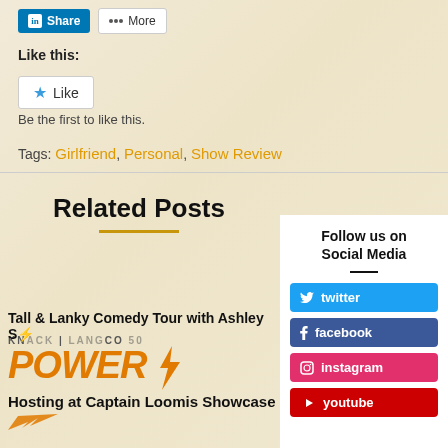[Figure (screenshot): LinkedIn Share button and More button]
Like this:
[Figure (screenshot): Like button with star icon]
Be the first to like this.
Tags: Girlfriend, Personal, Show Review
Related Posts
Tall & Lanky Comedy Tour with Ashley S
[Figure (logo): KNACK POWER logo with lightning bolt]
Hosting at Captain Loomis Showcase
Follow us on Social Media
[Figure (screenshot): Twitter, Facebook, Instagram, YouTube social media buttons]